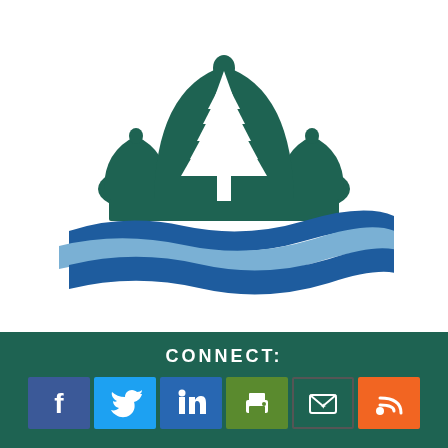[Figure (logo): Government/municipal logo: dark teal capitol dome silhouette with white evergreen tree cutout, above two flowing wave shapes in dark blue and light blue]
CONNECT:
[Figure (infographic): Row of six social media icon buttons: Facebook (dark blue), Twitter (light blue), LinkedIn (medium blue), Print (olive green), Email (dark teal), RSS (orange)]